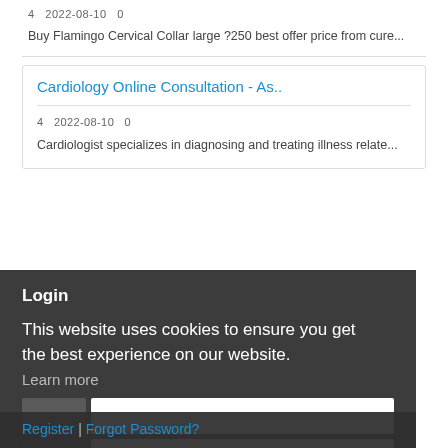4   2022-08-10   0
Buy Flamingo Cervical Collar large ?250 best offer price from cure...
Cardiology Online Consultation - As..
4   2022-08-10   0
Cardiologist specializes in diagnosing and treating illness relate...
Login
This website uses cookies to ensure you get the best experience on our website.
Learn more
Password
Got it!
Remember Me
Register | Forgot Password?